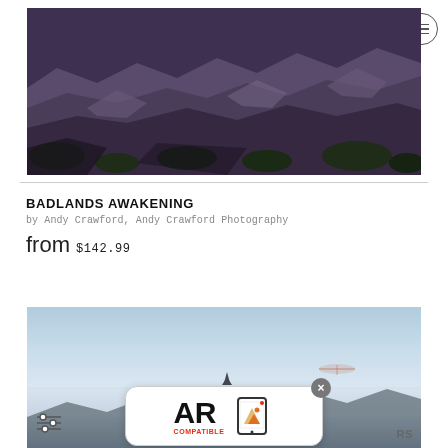Shopping cart and menu icons
[Figure (photo): Aerial/wide-angle photograph of Badlands rocky terrain with purple-brown ridges and dark green vegetation in valleys]
BADLANDS AWAKENING
by Andy Crawford, Andy Crawford Photography
from $142.99
[Figure (photo): Landscape photograph with blue sky and distant terrain, partially overlaid by AR Compatible badge]
[Figure (logo): AR Compatible badge logo with bold black AR text and orange/red mountain icon on white rounded rectangle background]